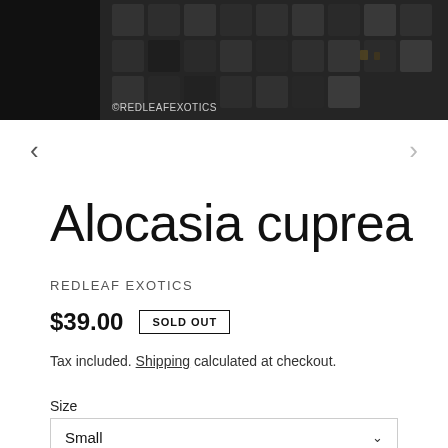[Figure (photo): Dark overhead photo of plant seedling trays/propagation cells, partially cropped, with watermark ©REDLEAFEXOTICS in bottom left corner]
Alocasia cuprea
REDLEAF EXOTICS
$39.00  SOLD OUT
Tax included. Shipping calculated at checkout.
Size
Small